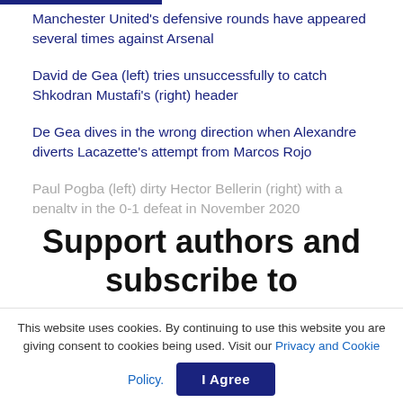Manchester United’s defensive rounds have appeared several times against Arsenal
David de Gea (left) tries unsuccessfully to catch Shkodran Mustafi’s (right) header
De Gea dives in the wrong direction when Alexandre diverts Lacazette’s attempt from Marcos Rojo
Paul Pogba (left) dirty Hector Bellerin (right) with a penalty in the 0-1 defeat in November 2020
Support authors and subscribe to
This website uses cookies. By continuing to use this website you are giving consent to cookies being used. Visit our Privacy and Cookie Policy.